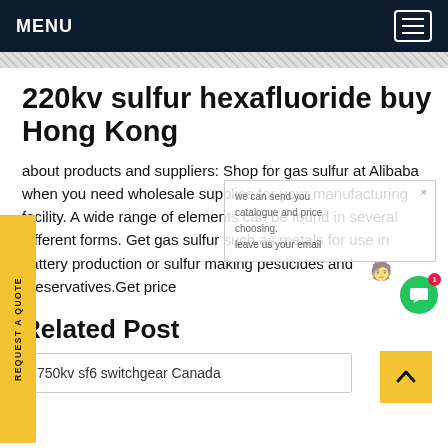MENU
220kv sulfur hexafluoride buy Hong Kong
about products and suppliers: Shop for gas sulfur at Alibaba when you need wholesale supplies for your manufacturing facility. A wide range of elements can be found in several different forms. Get gas sulfur such as metals for use in battery production or sulfur making pesticides and preservatives.Get price
Related Post
750kv sf6 switchgear Canada